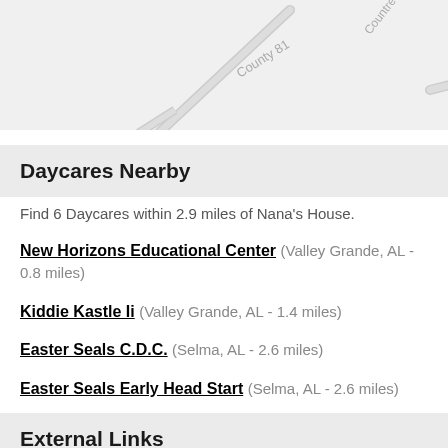[Figure (map): Partial street map showing County 81 road and Countree Dr, gray roads on light gray background]
Daycares Nearby
Find 6 Daycares within 2.9 miles of Nana's House.
New Horizons Educational Center (Valley Grande, AL - 0.8 miles)
Kiddie Kastle Ii (Valley Grande, AL - 1.4 miles)
Easter Seals C.D.C. (Selma, AL - 2.6 miles)
Easter Seals Early Head Start (Selma, AL - 2.6 miles)
North Dallas Head Start (Selma, AL - 2.8 miles)
Tabernacle Of Praise Church (Selma, AL - 2.9 miles)
External Links